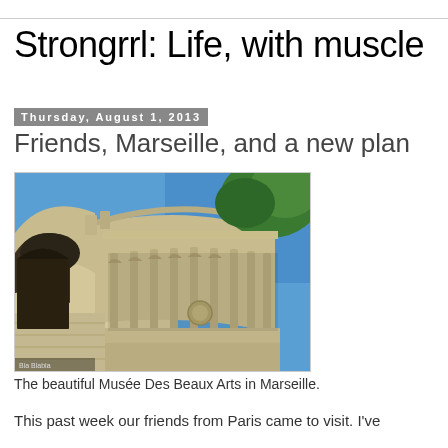Strongrrl: Life, with muscle
Thursday, August 1, 2013
Friends, Marseille, and a new plan
[Figure (photo): Photograph of the Musée Des Beaux Arts in Marseille — an ornate neoclassical building with curved colonnade, stone facade, and blue sky with green trees in the background.]
The beautiful Musée Des Beaux Arts in Marseille.
This past week our friends from Paris came to visit. I've